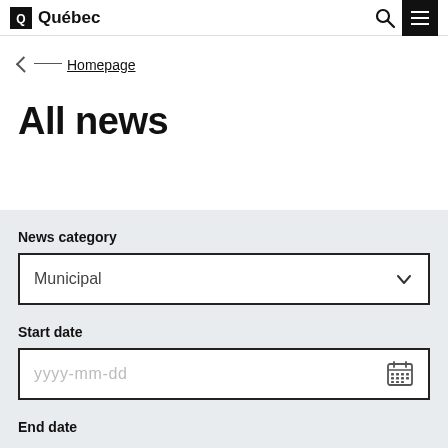Québec
← Homepage
All news
News category
Municipal
Start date
yyyy-mm-dd
End date